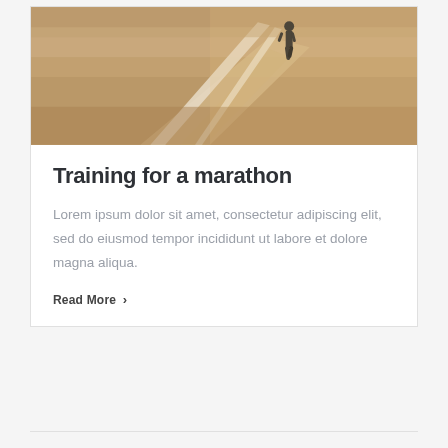[Figure (photo): Runner on a sandy track or road, viewed from behind at distance, with diagonal white line markings on the ground. Warm earthy tones with sandy/brown colors.]
Training for a marathon
Lorem ipsum dolor sit amet, consectetur adipiscing elit, sed do eiusmod tempor incididunt ut labore et dolore magna aliqua.
Read More >